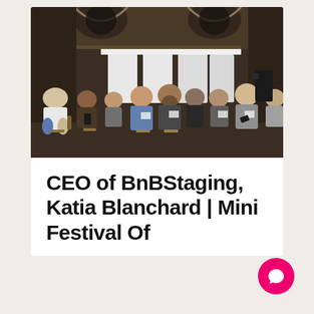[Figure (photo): Group of approximately 12-15 people seated in chairs in a row inside a historic building with arched windows and ornate architecture. The setting appears to be an event or meetup. People are casually dressed, some looking at phones.]
CEO of BnBStaging, Katia Blanchard | Mini Festival Of